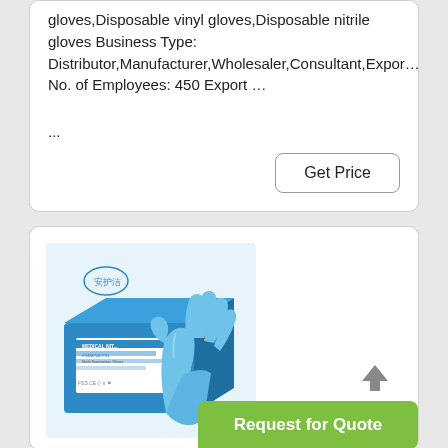gloves,Disposable vinyl gloves,Disposable nitrile gloves Business Type: Distributor,Manufacturer,Wholesaler,Consultant,Expor… No. of Employees: 450 Export …
...
[Figure (other): Button labeled 'Get Price' with rounded border]
[Figure (photo): Product photo of blue medical nitrile examination gloves with box labeled 'MEDICAL NITRILE EXAMINATION GLOVES' and Chinese branding (安护洁)]
[Figure (other): Green 'Request for Quote' button with a chevron/arrow up icon above it]